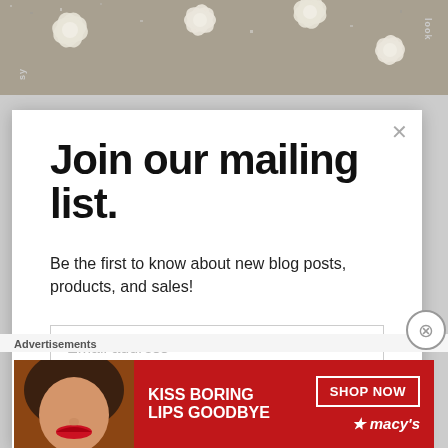[Figure (photo): Top decorative strip showing a textured grey floral/botanical pattern with cream-colored flower shapes and small rotated text labels visible]
Join our mailing list.
Be the first to know about new blog posts, products, and sales!
Email address
Subscribe
Advertisements
[Figure (infographic): Macy's advertisement banner with red background showing a woman's face with red lips, text reads 'KISS BORING LIPS GOODBYE' on the left and 'SHOP NOW' in a box with Macy's star logo on the right]